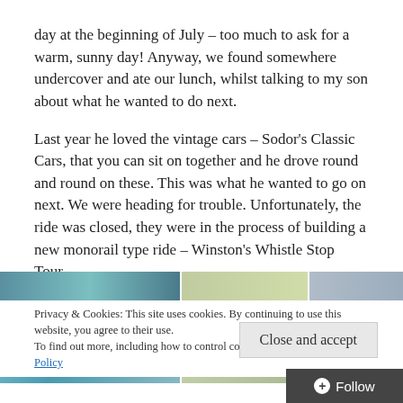day at the beginning of July – too much to ask for a warm, sunny day!  Anyway, we found somewhere undercover and ate our lunch, whilst talking to my son about what he wanted to do next.
Last year he loved the vintage cars – Sodor's Classic Cars, that you can sit on together and he drove round and round on these.  This was what he wanted to go on next.  We were heading for trouble.  Unfortunately, the ride was closed, they were in the process of building a new monorail type ride – Winston's Whistle Stop Tour.
[Figure (photo): Strip of three photographs partially visible]
Privacy & Cookies: This site uses cookies. By continuing to use this website, you agree to their use.
To find out more, including how to control cookies, see here: Cookie Policy
Close and accept
Follow